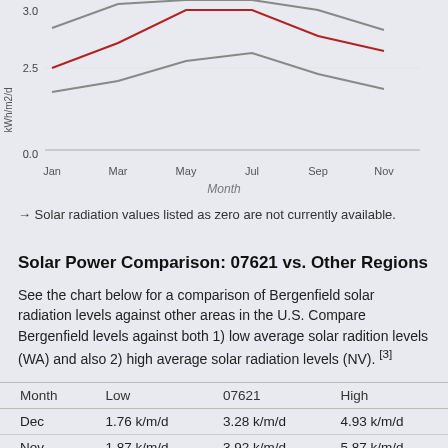[Figure (line-chart): Partial line chart showing solar radiation over months (Jan–Nov visible), with red line (07621/Bergenfield) and gray lines (Low/High reference). Y-axis shows 0.0 and 2.5 visible. X-axis labels: Jan, Mar, May, Jul, Sep, Nov.]
→ Solar radiation values listed as zero are not currently available.
Solar Power Comparison: 07621 vs. Other Regions
See the chart below for a comparison of Bergenfield solar radiation levels against other areas in the U.S. Compare Bergenfield levels against both 1) low average solar radition levels (WA) and also 2) high average solar radiation levels (NV). [3]
| Month | Low | 07621 | High |
| --- | --- | --- | --- |
| Dec | 1.76 k/m/d | 3.28 k/m/d | 4.93 k/m/d |
| Nov | 1.87 k/m/d | 3.92 k/m/d | 5.87 k/m/d |
| Oct | 3.36 k/m/d | 4.65 k/m/d | 6.44 k/m/d |